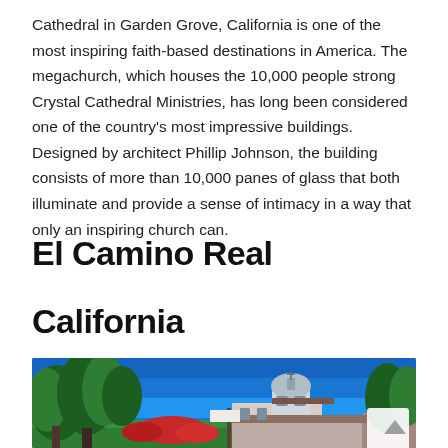Cathedral in Garden Grove, California is one of the most inspiring faith-based destinations in America. The megachurch, which houses the 10,000 people strong Crystal Cathedral Ministries, has long been considered one of the country's most impressive buildings. Designed by architect Phillip Johnson, the building consists of more than 10,000 panes of glass that both illuminate and provide a sense of intimacy in a way that only an inspiring church can.
El Camino Real
California
[Figure (photo): Exterior photograph of a historic California mission-style church with a dome and bell tower, surrounded by tall trees, under a bright blue sky.]